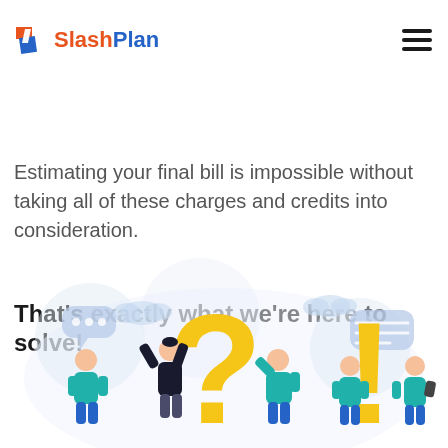SlashPlan logo and navigation menu
it depends on your monthly usage, and unique plan discounts, time of usage, etc. monthly base charges, usage credits,
Estimating your final bill is impossible without taking all of these charges and credits into consideration.
That's exactly what we're here to solve!
[Figure (illustration): Illustration of several people around large question mark and exclamation mark symbols with speech bubbles, depicting confusion and questions]